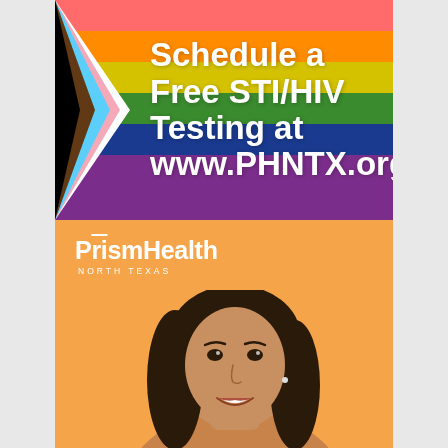[Figure (infographic): Top half: Progress Pride flag background (rainbow stripes with chevron triangles in white, pink, light blue, brown, black on left) with white bold text overlay reading 'Schedule a Free STI/HIV Testing at www.PHNTX.org'. Bottom half: Orange background with Prism Health North Texas white logo and photo of a smiling young woman with dark hair.]
Schedule a Free STI/HIV Testing at www.PHNTX.org
Prism Health NORTH TEXAS